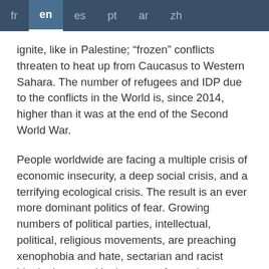fr  en  es  pt  ar  zh
ignite, like in Palestine; “frozen” conflicts threaten to heat up from Caucasus to Western Sahara. The number of refugees and IDP due to the conflicts in the World is, since 2014, higher than it was at the end of the Second World War.
People worldwide are facing a multiple crisis of economic insecurity, a deep social crisis, and a terrifying ecological crisis. The result is an ever more dominant politics of fear. Growing numbers of political parties, intellectual, political, religious movements, are preaching xenophobia and hate, sectarian and racist ideologies – and in the case of terrorist groups enacting them in escalating acts of horror. States adopt the rhetoric and practice of war against “enemies”, carrying out extra-judicial executions by drones, imposing emergency